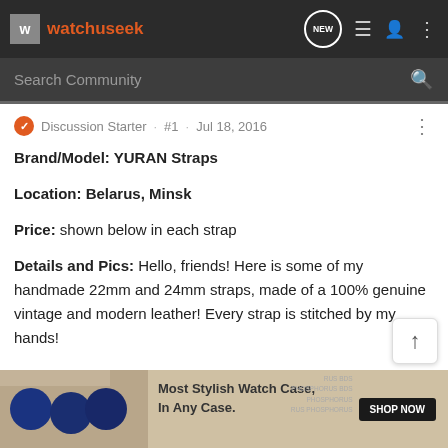watchuseek
Search Community
Discussion Starter · #1 · Jul 18, 2016
Brand/Model: YURAN Straps
Location: Belarus, Minsk
Price: shown below in each strap
Details and Pics: Hello, friends! Here is some of my handmade 22mm and 24mm straps, made of a 100% genuine vintage and modern leather! Every strap is stitched by my hands!
[Figure (photo): Advertisement banner: Most Stylish Watch Case, In Any Case. SHOP NOW button with watch case image on left and text watermarks on right.]